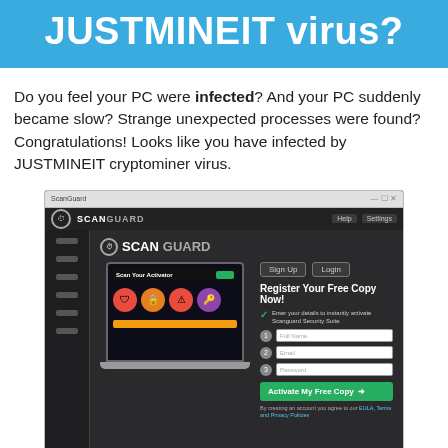JUSTMINEIT virus?
Do you feel your PC were infected? And your PC suddenly became slow? Strange unexpected processes were found?
Congratulations! Looks like you have infected by JUSTMINEIT cryptominer virus.
[Figure (screenshot): Screenshot of ScanGuard antivirus application showing a dark-themed UI with a sidebar, top bar with SCANGUARD logo, a laptop mockup with colorful security icons, and a 'Register Your Free Copy Now!' form with Full Name, Email, Password fields and an 'Activate My Free Copy' green button.]